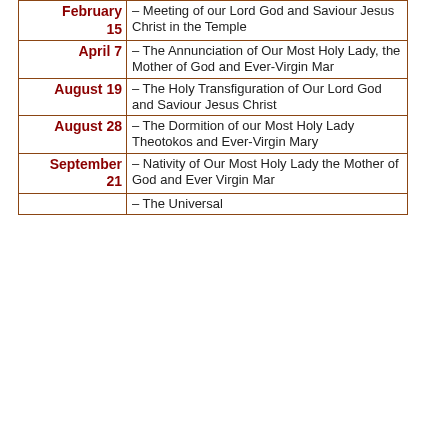| Date | Event |
| --- | --- |
| February 15 | – Meeting of our Lord God and Saviour Jesus Christ in the Temple |
| April 7 | – The Annunciation of Our Most Holy Lady, the Mother of God and Ever-Virgin Mar |
| August 19 | – The Holy Transfiguration of Our Lord God and Saviour Jesus Christ |
| August 28 | – The Dormition of our Most Holy Lady Theotokos and Ever-Virgin Mary |
| September 21 | – Nativity of Our Most Holy Lady the Mother of God and Ever Virgin Mar |
|  | – The Universal... |